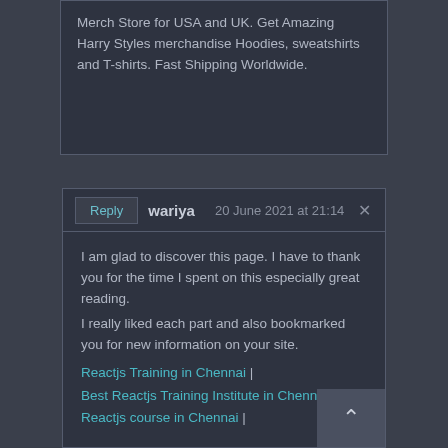Merch Store for USA and UK. Get Amazing Harry Styles merchandise Hoodies, sweatshirts and T-shirts. Fast Shipping Worldwide.
wariya   20 June 2021 at 21:14
I am glad to discover this page. I have to thank you for the time I spent on this especially great reading.
I really liked each part and also bookmarked you for new information on your site.
Reactjs Training in Chennai | Best Reactjs Training Institute in Chennai | Reactjs course in Chennai |